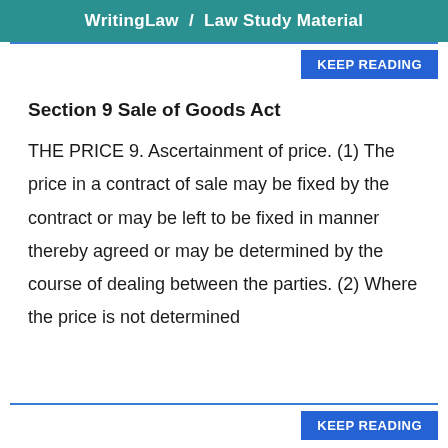WritingLaw  /  Law Study Material
Section 9 Sale of Goods Act
THE PRICE 9. Ascertainment of price. (1) The price in a contract of sale may be fixed by the contract or may be left to be fixed in manner thereby agreed or may be determined by the course of dealing between the parties. (2) Where the price is not determined